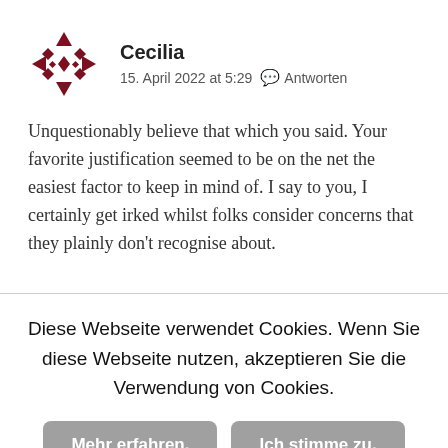[Figure (illustration): Decorative avatar icon made of dark red/maroon geometric diamond and arrow shapes arranged in a symmetrical pattern]
Cecilia
15. April 2022 at 5:29   Antworten
Unquestionably believe that which you said. Your favorite justification seemed to be on the net the easiest factor to keep in mind of. I say to you, I certainly get irked whilst folks consider concerns that they plainly don't recognise about.
Diese Webseite verwendet Cookies. Wenn Sie diese Webseite nutzen, akzeptieren Sie die Verwendung von Cookies.
Mehr erfahren.
Ich stimme zu.